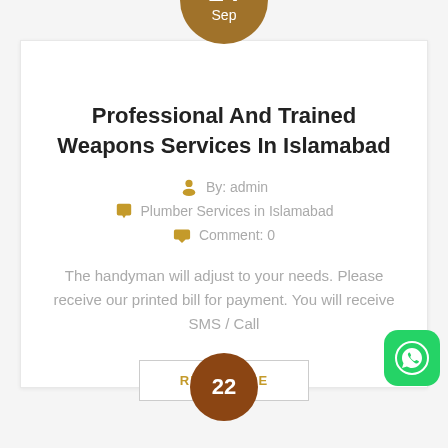[Figure (other): Brown circle with date: 24 Sep]
Professional And Trained Weapons Services In Islamabad
By: admin
Plumber Services in Islamabad
Comment: 0
The handyman will adjust to your needs. Please receive our printed bill for payment. You will receive SMS / Call
READ MORE
[Figure (other): Partial brown circle at bottom with number 22]
[Figure (other): WhatsApp icon button (green rounded square)]